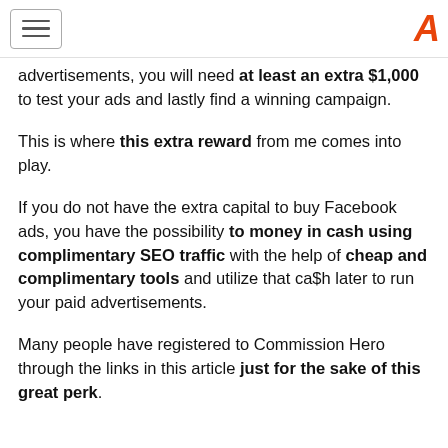[hamburger menu] [logo: A]
advertisements, you will need at least an extra $1,000 to test your ads and lastly find a winning campaign.
This is where this extra reward from me comes into play.
If you do not have the extra capital to buy Facebook ads, you have the possibility to money in cash using complimentary SEO traffic with the help of cheap and complimentary tools and utilize that ca$h later to run your paid advertisements.
Many people have registered to Commission Hero through the links in this article just for the sake of this great perk.